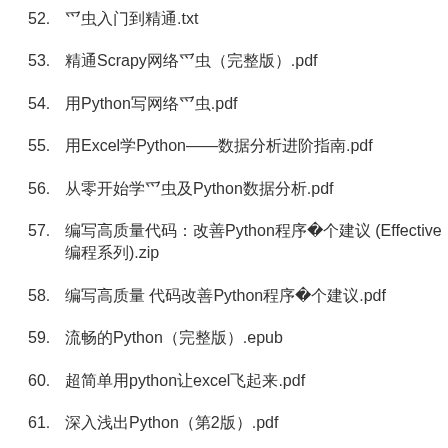52. 爬虫入门到精通.txt
53. 精通Scrapy网络爬虫（完整版）.pdf
54. 用Python写网络爬虫.pdf
55. 用Excel学Python——数据分析进阶指南.pdf
56. 从零开始学爬虫及Python数据分析.pdf
57. 编写高质量代码：改善Python程序的91个建议 (Effective编程系列).zip
58. 编写高质量 代码改善Python程序的91个建议.pdf
59. 流畅的Python（完整版）.epub
60. 超简单用python让excel飞起来.pdf
61. 深入浅出Python（第2版）.pdf